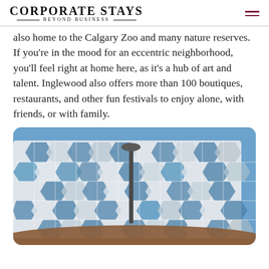Corporate Stays — Beyond Business
also home to the Calgary Zoo and many nature reserves. If you're in the mood for an eccentric neighborhood, you'll feel right at home here, as it's a hub of art and talent. Inglewood also offers more than 100 boutiques, restaurants, and other fun festivals to enjoy alone, with friends, or with family.
[Figure (photo): Exterior photo of a modern building with a geometric patterned facade of blue and white angular tiles, with a curved wooden canopy at the base and a blue sky background.]